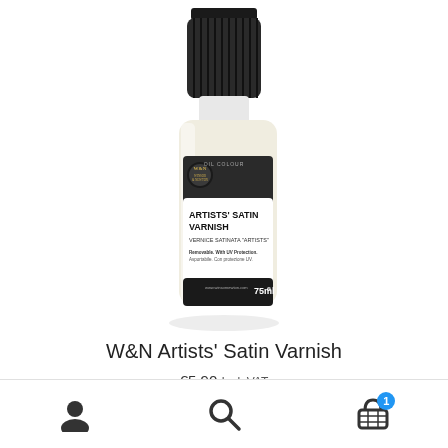[Figure (photo): Winsor & Newton Artists' Satin Varnish 75ml bottle with black cap and label showing ARTISTS' SATIN VARNISH text, VERNICE SATINATA 'ARTISTS', Removable. With UV Protection. Asportabile. Con protezione UV. 75ml]
W&N Artists' Satin Varnish
€5,90 Incl. VAT
navigation icons: user, search, cart (1)